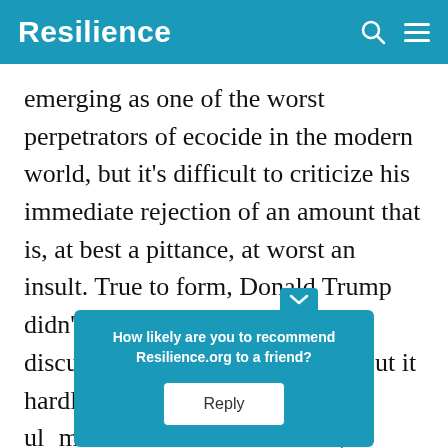Resilience
emerging as one of the worst perpetrators of ecocide in the modern world, but it's difficult to criticize his immediate rejection of an amount that is, at best a pittance, at worst an insult. True to form, Donald Trump didn't bother to turn up for the discussion on the Amazon fires, but it hardly made a difference. The ultimate message … ns was they w… g, to lift a fi…